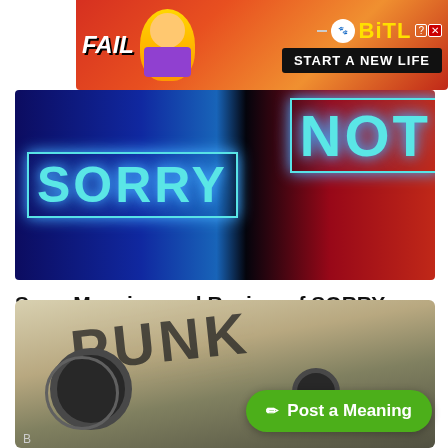[Figure (screenshot): BitLife advertisement banner with FAIL text and animated character on red/orange background, BitLife logo with START A NEW LIFE button]
[Figure (screenshot): Hero image showing 'SORRY NOT SORRY' text in glowing cyan neon style lettering on dark blue/red background]
Song Meaning and Review of SORRY NOT SORRY by DJ Khaled ft. Nas, Jay-Z & James...
Morris Lungu    1 year ago
[Figure (photo): Cassette tape with PUNK written in marker on the label, dark background]
✏ Post a Meaning